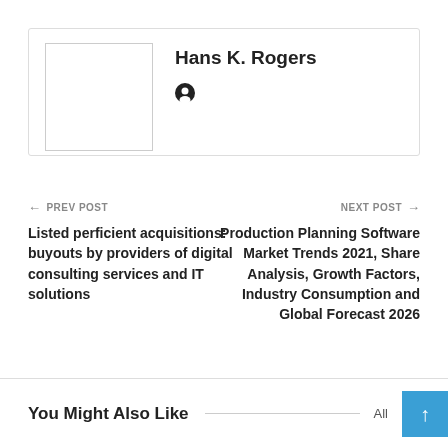Hans K. Rogers
← PREV POST
Listed perficient acquisitions: buyouts by providers of digital consulting services and IT solutions
NEXT POST →
Production Planning Software Market Trends 2021, Share Analysis, Growth Factors, Industry Consumption and Global Forecast 2026
You Might Also Like